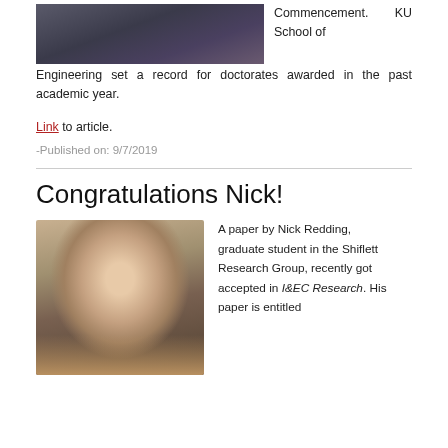[Figure (photo): Partial photo of people at a commencement ceremony, partially cropped at top]
Commencement. KU School of Engineering set a record for doctorates awarded in the past academic year.
Link to article.
-Published on: 9/7/2019
Congratulations Nick!
[Figure (photo): Portrait photo of Nick Redding, a young man smiling, against a brick wall background]
A paper by Nick Redding, graduate student in the Shiflett Research Group, recently got accepted in I&EC Research. His paper is entitled